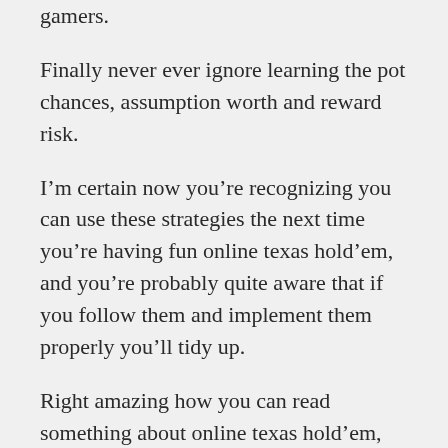gamers.
Finally never ever ignore learning the pot chances, assumption worth and reward risk.
I’m certain now you’re recognizing you can use these strategies the next time you’re having fun online texas hold’em, and you’re probably quite aware that if you follow them and implement them properly you’ll tidy up.
Right amazing how you can read something about online texas hold’em, learn something new, and after that use that to win much more. Imagine what also you could learn if you simply took a